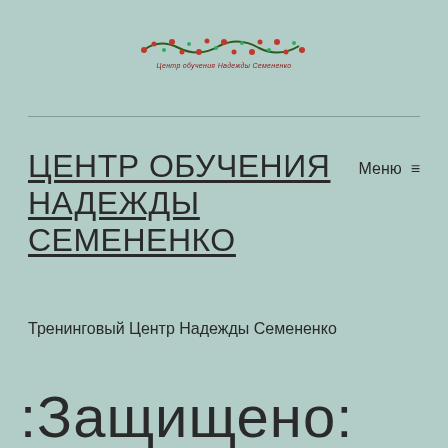[Figure (logo): Decorative garland logo with text 'Центр обучения Надежды Семененко' in red/green holiday wreath style]
ЦЕНТР ОБУЧЕНИЯ НАДЕЖДЫ СЕМЕНЕНКО
Меню ☰
Тренинговый Центр Надежды Семененко
:Защищено: